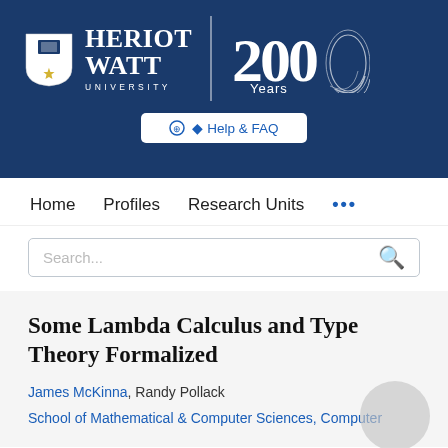[Figure (logo): Heriot-Watt University logo with shield, text 'HERIOT WATT UNIVERSITY', a vertical divider, and '200 Years' anniversary logo on a dark blue banner background]
Help & FAQ
Home   Profiles   Research Units   ...
Search...
Some Lambda Calculus and Type Theory Formalized
James McKinna, Randy Pollack
School of Mathematical & Computer Sciences, Computer